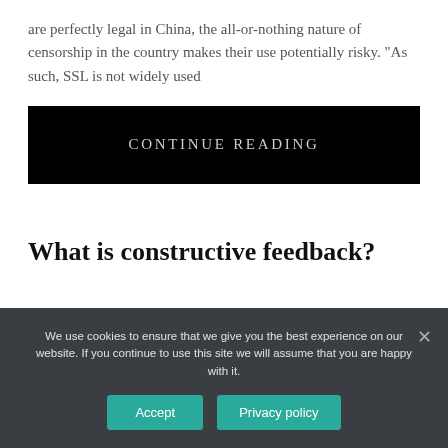are perfectly legal in China, the all-or-nothing nature of censorship in the country makes their use potentially risky. “As such, SSL is not widely used
[Figure (other): Black button/banner with text CONTINUE READING in uppercase serif letters]
What is constructive feedback?
We use cookies to ensure that we give you the best experience on our website. If you continue to use this site we will assume that you are happy with it.
Accept   Privacy policy